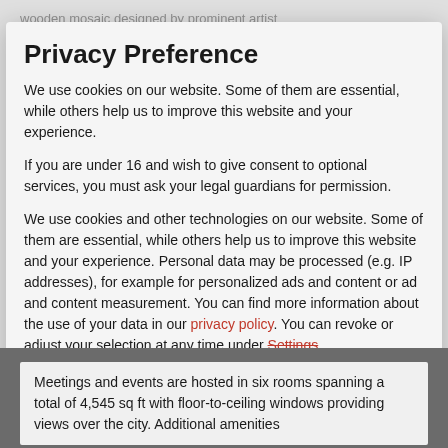Privacy Preference
We use cookies on our website. Some of them are essential, while others help us to improve this website and your experience.
If you are under 16 and wish to give consent to optional services, you must ask your legal guardians for permission.
We use cookies and other technologies on our website. Some of them are essential, while others help us to improve this website and your experience. Personal data may be processed (e.g. IP addresses), for example for personalized ads and content or ad and content measurement. You can find more information about the use of your data in our privacy policy. You can revoke or adjust your selection at any time under Settings.
Essential
External Media
Accept all
Meetings and events are hosted in six rooms spanning a total of 4,545 sq ft with floor-to-ceiling windows providing views over the city. Additional amenities